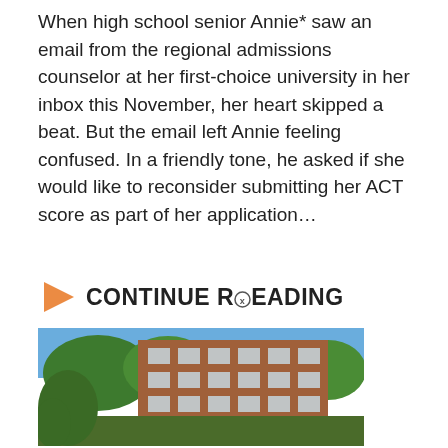When high school senior Annie* saw an email from the regional admissions counselor at her first-choice university in her inbox this November, her heart skipped a beat. But the email left Annie feeling confused. In a friendly tone, he asked if she would like to reconsider submitting her ACT score as part of her application…
▶ CONTINUE READING
[Figure (photo): Photo of a brick university building with green trees in the foreground and blue sky background, partially overlapped by a black video player panel with a play button, progress bar, and video controls showing 00:30]